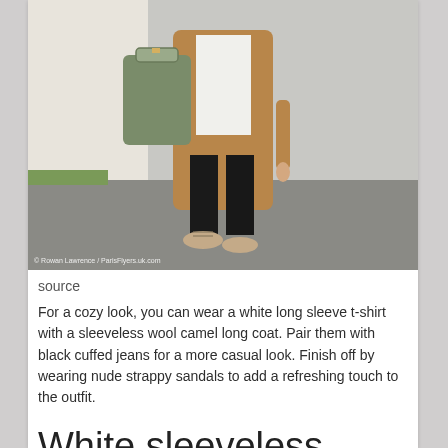[Figure (photo): A person walking outdoors wearing a white long sleeve t-shirt, sleeveless camel wool long coat, black cuffed jeans, and nude lace-up sandals. They carry a large olive/sage green tote bag. Street background with grey pavement and white wall.]
© Rowan Lawrence / ParisFlyers.uk.com
source
For a cozy look, you can wear a white long sleeve t-shirt with a sleeveless wool camel long coat. Pair them with black cuffed jeans for a more casual look. Finish off by wearing nude strappy sandals to add a refreshing touch to the outfit.
White sleeveless